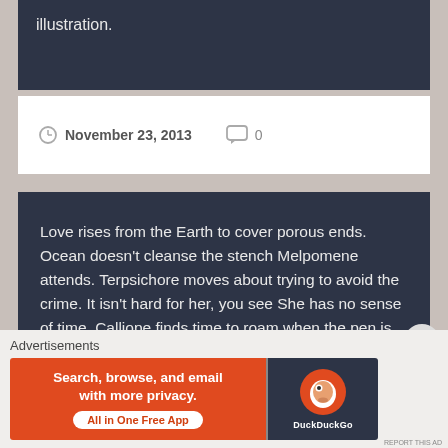illustration.
November 23, 2013   0
Love rises from the Earth to cover porous ends. Ocean doesn’t cleanse the stench Melpomene attends. Terpsichore moves about trying to avoid the crime. It isn’t hard for her, you see She has no sense of time. Calliope finds time to roam when the pen is taken out. Beautiful love written in skies Woven like...
Continue Reading →
Advertisements
[Figure (screenshot): DuckDuckGo advertisement banner: orange left side with text 'Search, browse, and email with more privacy. All in One Free App', dark right side with DuckDuckGo logo]